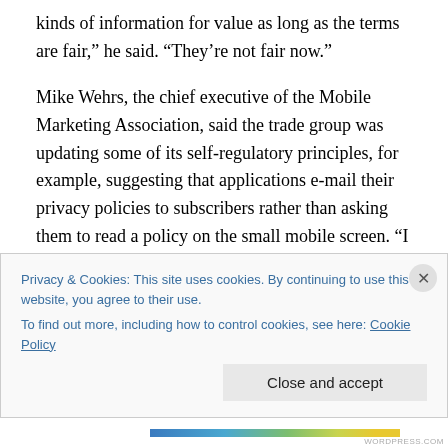kinds of information for value as long as the terms are fair,” he said. “They’re not fair now.”
Mike Wehrs, the chief executive of the Mobile Marketing Association, said the trade group was updating some of its self-regulatory principles, for example, suggesting that applications e-mail their privacy policies to subscribers rather than asking them to read a policy on the small mobile screen. “I agree there’s more that can be done,” he said. “One thing about mobile, it’s an amazingly fast-moving industry.”
Privacy & Cookies: This site uses cookies. By continuing to use this website, you agree to their use.
To find out more, including how to control cookies, see here: Cookie Policy